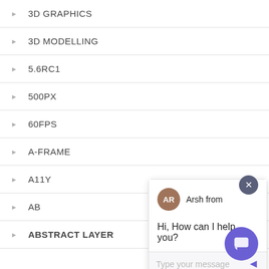3D GRAPHICS
3D MODELLING
5.6RC1
500PX
60FPS
A-FRAME
A11Y
AB
ABSTRACT LAYER
[Figure (screenshot): Chat widget overlay with avatar 'AR' for agent Arsh, message 'Hi, How can I help you?', text input placeholder 'Type your message', send button, and close (x) button. Purple chat launcher button in bottom right.]